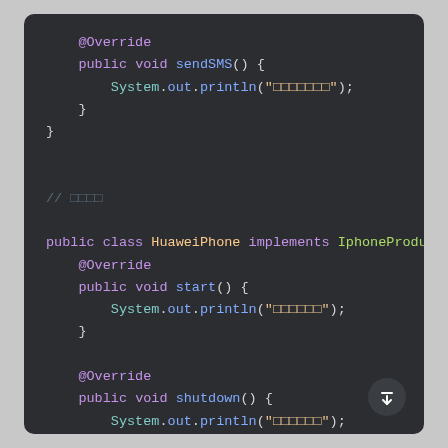[Figure (screenshot): Dark-themed Java code editor screenshot showing class definition for HuaweiPhone implementing IphoneProduct interface, with methods sendSMS, start, and shutdown, each containing System.out.println statements.]